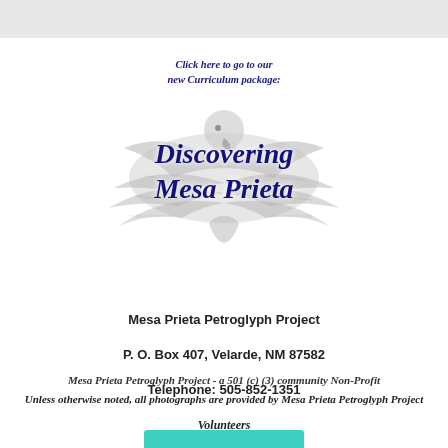[Figure (illustration): Bird/eagle illustration (petroglyph style) with text overlay. Text reads: 'Click here to go to our new Curriculum package:' above large bold italic dark blue text 'Discovering Mesa Prieta']
Mesa Prieta Petroglyph Project
P. O. Box 407, Velarde, NM 87582
Telephone: 505-852-1351
Mesa Prieta Petroglyph Project - a 501 (c) (3) community Non-Profit
Unless otherwise noted, all photographs are provided by Mesa Prieta Petroglyph Project Volunteers